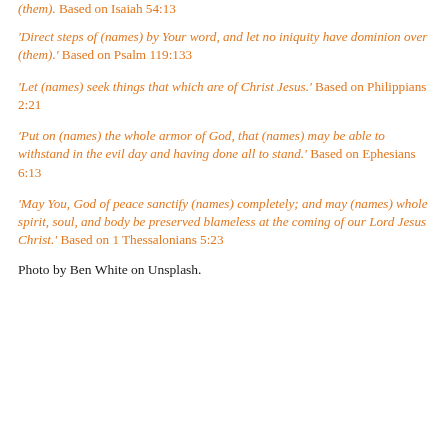'(them).' Based on Isaiah 54:13
'Direct steps of (names) by Your word, and let no iniquity have dominion over (them).' Based on Psalm 119:133
'Let (names) seek things that which are of Christ Jesus.' Based on Philippians 2:21
'Put on (names) the whole armor of God, that (names) may be able to withstand in the evil day and having done all to stand.' Based on Ephesians 6:13
'May You, God of peace sanctify (names) completely; and may (names) whole spirit, soul, and body be preserved blameless at the coming of our Lord Jesus Christ.' Based on 1 Thessalonians 5:23
Photo by Ben White on Unsplash.